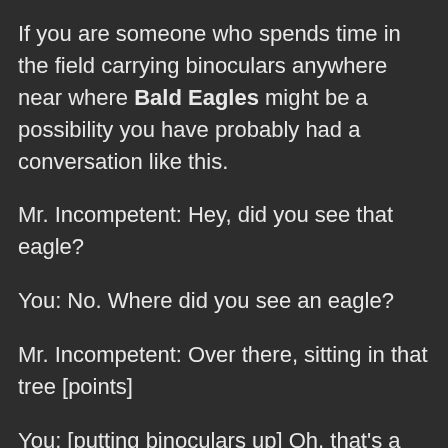If you are someone who spends time in the field carrying binoculars anywhere near where Bald Eagles might be a possibility you have probably had a conversation like this.
Mr. Incompetent: Hey, did you see that eagle?
You: No. Where did you see an eagle?
Mr. Incompetent: Over there, sitting in that tree [points]
You: [putting binoculars up] Oh, that's a